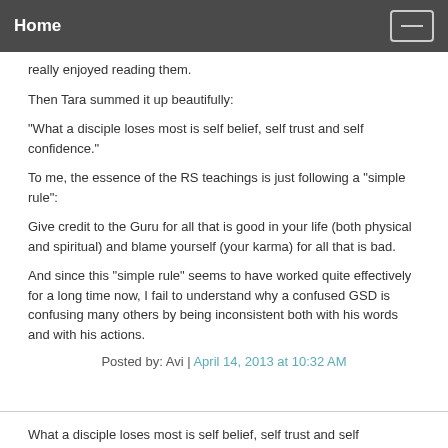Home
really enjoyed reading them.
Then Tara summed it up beautifully:
"What a disciple loses most is self belief, self trust and self confidence."
To me, the essence of the RS teachings is just following a "simple rule":
Give credit to the Guru for all that is good in your life (both physical and spiritual) and blame yourself (your karma) for all that is bad.
And since this "simple rule" seems to have worked quite effectively for a long time now, I fail to understand why a confused GSD is confusing many others by being inconsistent both with his words and with his actions.
Posted by: Avi | April 14, 2013 at 10:32 AM
What a disciple loses most is self belief, self trust and self